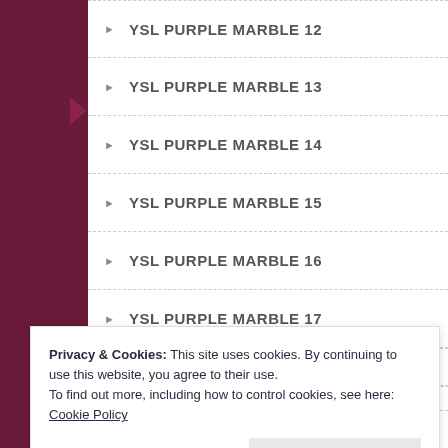YSL PURPLE MARBLE 12
YSL PURPLE MARBLE 13
YSL PURPLE MARBLE 14
YSL PURPLE MARBLE 15
YSL PURPLE MARBLE 16
YSL PURPLE MARBLE 17
YSL PURPLE MARBLE 18
YSL PURPLE MARBLE 19
YSL PURPLE MARBLE 2
YSL PURPLE MARBLE 20
YSL PURPLE MARBLE 21
Privacy & Cookies: This site uses cookies. By continuing to use this website, you agree to their use.
To find out more, including how to control cookies, see here: Cookie Policy
Close and accept
YSL PURPLE MARBLE 25